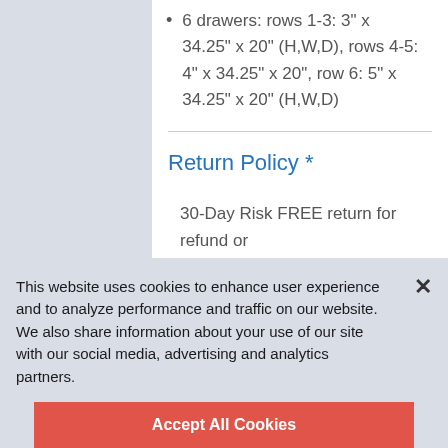6 drawers: rows 1-3: 3" x 34.25" x 20" (H,W,D), rows 4-5: 4" x 34.25" x 20", row 6: 5" x 34.25" x 20" (H,W,D)
Return Policy *
30-Day Risk FREE return for refund or
This website uses cookies to enhance user experience and to analyze performance and traffic on our website. We also share information about your use of our site with our social media, advertising and analytics partners.
Accept All Cookies